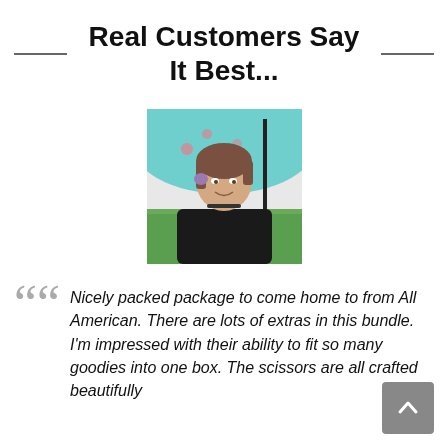Real Customers Say It Best...
[Figure (photo): Photo of a woman with short brown/purple-tipped hair, smiling, holding an umbrella handle, outdoors with green grass background and floral umbrella]
Nicely packed package to come home to from All American. There are lots of extras in this bundle. I'm impressed with their ability to fit so many goodies into one box. The scissors are all crafted beautifully